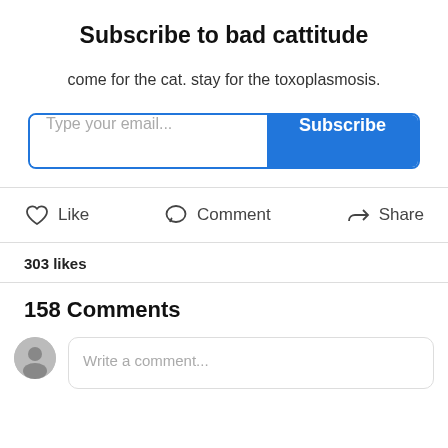Subscribe to bad cattitude
come for the cat. stay for the toxoplasmosis.
[Figure (other): Email subscription form with text input placeholder 'Type your email...' and a blue Subscribe button]
[Figure (other): Action row with Like (heart icon), Comment (speech bubble icon), and Share (share icon) buttons]
303 likes
158 Comments
[Figure (other): Comment input area with user avatar and text placeholder 'Write a comment...']